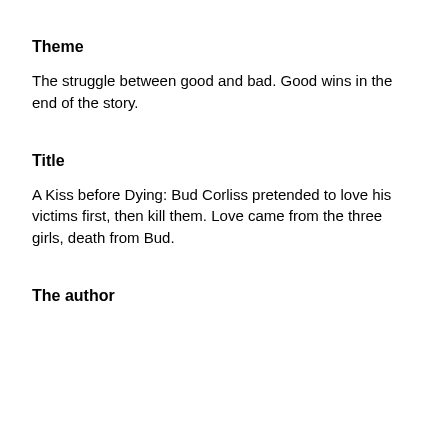Theme
The struggle between good and bad. Good wins in the end of the story.
Title
A Kiss before Dying: Bud Corliss pretended to love his victims first, then kill them. Love came from the three girls, death from Bud.
The author